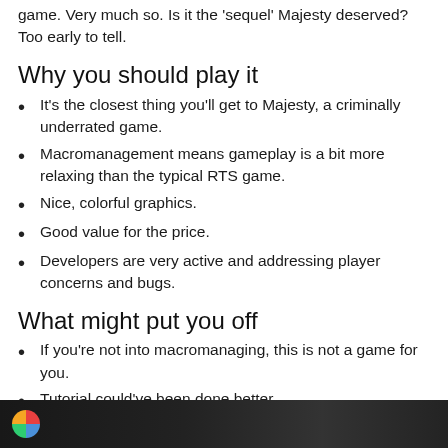game. Very much so. Is it the 'sequel' Majesty deserved? Too early to tell.
Why you should play it
It's the closest thing you'll get to Majesty, a criminally underrated game.
Macromanagement means gameplay is a bit more relaxing than the typical RTS game.
Nice, colorful graphics.
Good value for the price.
Developers are very active and addressing player concerns and bugs.
What might put you off
If you're not into macromanaging, this is not a game for you.
Tutorial could've been done better.
Plays similarly to
Majesty, Northgard, Stronghold
[Figure (screenshot): Dark screenshot from a game, partially visible at the bottom of the page with a colorful circular logo on the left.]